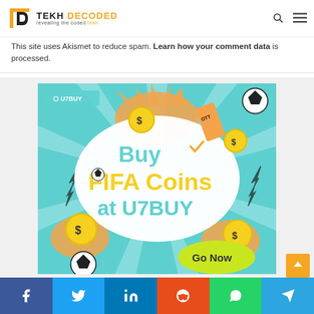Tekh Decoded – revealing the coded tekh
This site uses Akismet to reduce spam. Learn how your comment data is processed.
[Figure (illustration): U7BUY advertisement banner: 'Buy FIFA Coins at U7BUY – Go Now']
Social share bar: Facebook, Twitter, LinkedIn, Reddit, WhatsApp, Telegram